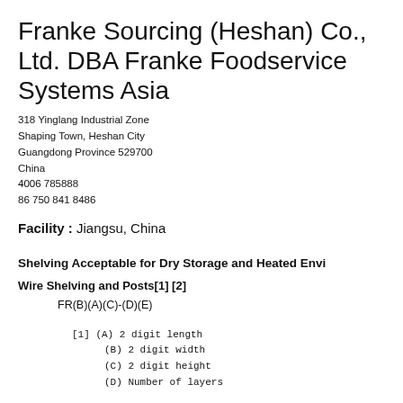Franke Sourcing (Heshan) Co., Ltd. DBA Franke Foodservice Systems Asia
318 Yinglang Industrial Zone
Shaping Town, Heshan City
Guangdong Province 529700
China
4006 785888
86 750 841 8486
Facility : Jiangsu, China
Shelving Acceptable for Dry Storage and Heated Envi
Wire Shelving and Posts[1] [2]
FR(B)(A)(C)-(D)(E)
[1] (A) 2 digit length
(B) 2 digit width
(C) 2 digit height
(D) Number of layers